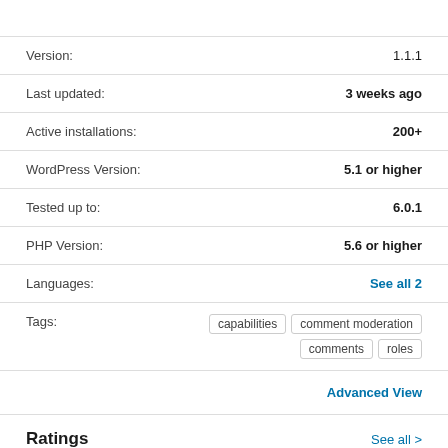| Field | Value |
| --- | --- |
| Version: | 1.1.1 |
| Last updated: | 3 weeks ago |
| Active installations: | 200+ |
| WordPress Version: | 5.1 or higher |
| Tested up to: | 6.0.1 |
| PHP Version: | 5.6 or higher |
| Languages: | See all 2 |
| Tags: | capabilities  comment moderation  comments  roles |
Advanced View
Ratings
See all >